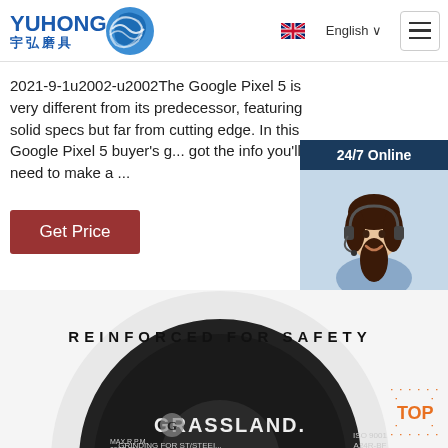[Figure (logo): Yuhong logo with Chinese characters 宇弘磨具 and blue wave graphic]
English ∨
2021-9-1u2002-u2002The Google Pixel 5 is very different from its predecessor, featuring solid specs but far from cutting edge. In this Google Pixel 5 buyer's g... got the info you'll need to make a ...
Get Price
[Figure (photo): 24/7 Online chat widget with photo of woman wearing headset and 'Click here for free chat!' and QUOTATION button]
[Figure (photo): Close-up of Grassland brand grinding disc labeled REINFORCED FOR SAFETY, GRINDING FOR ST/STEEL, ISO 9001, A24R-BF]